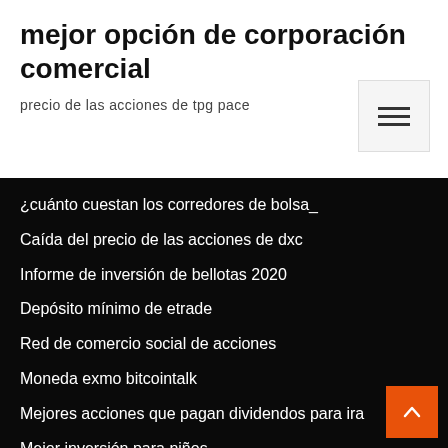mejor opción de corporación comercial
precio de las acciones de tpg pace
¿cuánto cuestan los corredores de bolsa_
Caída del precio de las acciones de dxc
Informe de inversión de bellotas 2020
Depósito mínimo de etrade
Red de comercio social de acciones
Moneda exmo bitcointalk
Mejores acciones que pagan dividendos para ira
Mejor inversión para niños
Exploración espacial de criptomonedas